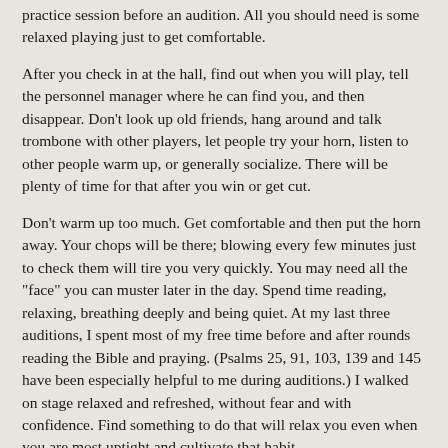practice session before an audition. All you should need is some relaxed playing just to get comfortable.
After you check in at the hall, find out when you will play, tell the personnel manager where he can find you, and then disappear. Don't look up old friends, hang around and talk trombone with other players, let people try your horn, listen to other people warm up, or generally socialize. There will be plenty of time for that after you win or get cut.
Don't warm up too much. Get comfortable and then put the horn away. Your chops will be there; blowing every few minutes just to check them will tire you very quickly. You may need all the "face" you can muster later in the day. Spend time reading, relaxing, breathing deeply and being quiet. At my last three auditions, I spent most of my free time before and after rounds reading the Bible and praying. (Psalms 25, 91, 103, 139 and 145 have been especially helpful to me during auditions.) I walked on stage relaxed and refreshed, without fear and with confidence. Find something to do that will relax you even when you are most uptight and cultivate that habit.
Drink a lot of water. Water fills your stomach and keeps you from getting hungry at the wrong time. It also keeps your body super-hydrated and therefore works to prevent drymouth. In addition, it